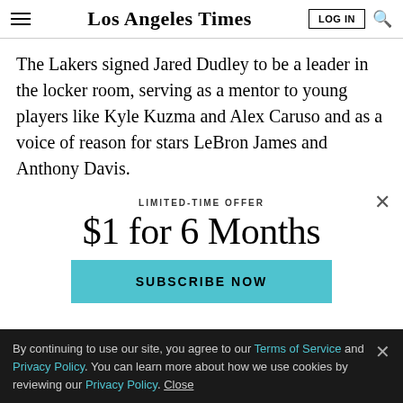Los Angeles Times
The Lakers signed Jared Dudley to be a leader in the locker room, serving as a mentor to young players like Kyle Kuzma and Alex Caruso and as a voice of reason for stars LeBron James and Anthony Davis.
LIMITED-TIME OFFER
$1 for 6 Months
SUBSCRIBE NOW
By continuing to use our site, you agree to our Terms of Service and Privacy Policy. You can learn more about how we use cookies by reviewing our Privacy Policy. Close